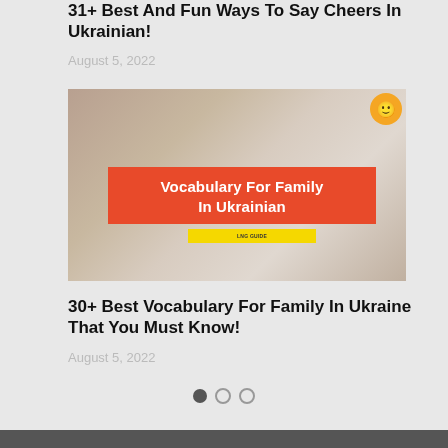31+ Best And Fun Ways To Say Cheers In Ukrainian!
August 5, 2022
[Figure (photo): Family photo with overlay text 'Vocabulary For Family In Ukrainian' on red banner with yellow LNG GUIDE strip and emoji icon]
30+ Best Vocabulary For Family In Ukraine That You Must Know!
August 5, 2022
● ○ ○